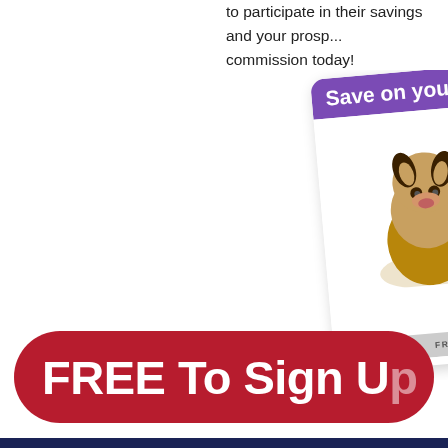to participate in their savings and your prospective commission today!
[Figure (illustration): Two pharmaceutical/pet discount drug cards partially visible: 1) FluffyRx.com Free Pet Discount Drug Card with purple header showing 'Save on your P...' and images of a German shepherd puppy, bunny, and black-and-white kitten; 2) National Drug Card with navy blue header showing 'Save on Brand-...' with prescription pill bottle and scattered pills; both cards slightly rotated.]
[Figure (infographic): Large red rounded-rectangle button with white bold text reading 'FREE To Sign Up']